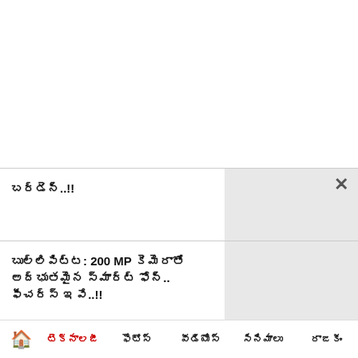బర్డెన్..!!
బుల్లిపిట్ట: 200 MP కెమెరాతో అద్భుతమైన స్మార్ట్ ఫోన్.. ఫీచర్స్ ఇవే..!!
బుల్లి పిట్ట: రూ.25 వేలకే 50 ఇంచుల స్మార్ట్ టీవీ..!!
ఈమెయిల్ ఇదితో ఇలా చేస్తే మీ డబ్బు మాయం!
🏠 టెక్నాలజీ  ఫొటోస్  వీడియోస్  సినిమాలు  రాజకీం